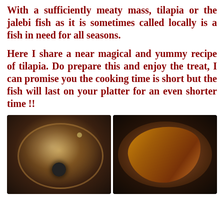With a sufficiently meaty mass, tilapia or the jalebi fish as it is sometimes called locally is a fish in need for all seasons.
Here I share a near magical and yummy recipe of tilapia. Do prepare this and enjoy the treat, I can promise you the cooking time is short but the fish will last on your platter for an even shorter time !!
[Figure (photo): Two photos side by side: left shows a steamed glass pan lid with condensation and dark knob handle; right shows a whole tilapia fish frying in a dark pan with reddish-brown sauce.]